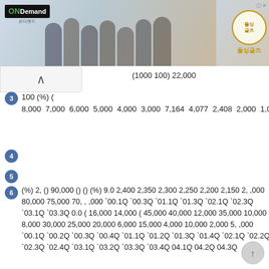[Figure (screenshot): ONDemand advertisement banner with Korean TV show cast photo and 돌싱글즈 logo]
(1000 100) 22,000
3  100 (%) ( 8,000 7,000 6,000 5,000 4,000 3,000 7,164 4,077 2,408 2,000 1,000
4
5
6  (%) 2, () 90,000 () () (%) 9.0 2,400 2,350 2,300 2,250 2,200 2,150 2, ,000 80,000 75,000 70, , ,000 `00.1Q `00.3Q `01.1Q `01.3Q `02.1Q `02.3Q `03.1Q `03.3Q 0.0 ( 16,000 14,000 ( 45,000 40,000 12,000 35,000 10,000 8,000 30,000 25,000 20,000 6,000 15,000 4,000 10,000 2,000 5, ,000 `00.1Q `00.2Q `00.3Q `00.4Q `01.1Q `01.2Q `01.3Q `01.4Q `02.1Q `02.2Q `02.3Q `02.4Q `03.1Q `03.2Q `03.3Q `03.4Q 04.1Q 04.2Q 04.3Q